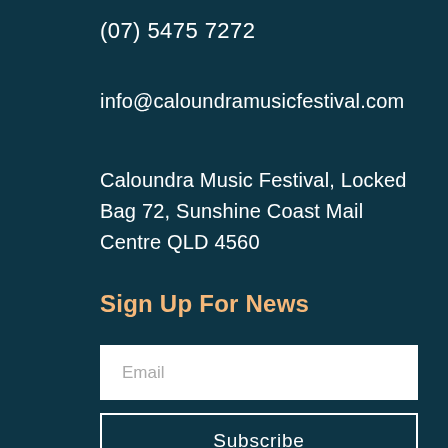(07) 5475 7272
info@caloundramusicfestival.com
Caloundra Music Festival, Locked Bag 72, Sunshine Coast Mail Centre QLD 4560
Sign Up For News
Email
Subscribe